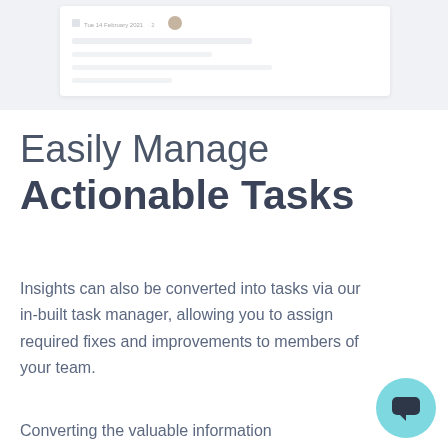[Figure (screenshot): Partial screenshot of a web application UI showing a card element with a date label and avatar icon, on a light grey background]
Easily Manage Actionable Tasks
Insights can also be converted into tasks via our in-built task manager, allowing you to assign required fixes and improvements to members of your team.
Converting the valuable information